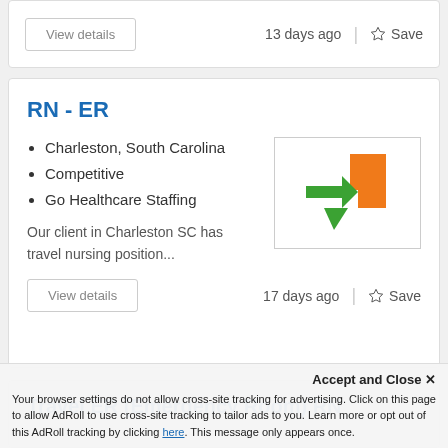View details   13 days ago   Save
RN - ER
Charleston, South Carolina
Competitive
Go Healthcare Staffing
Our client in Charleston SC has travel nursing position...
[Figure (logo): Go Healthcare Staffing logo: green and orange cross/arrow shapes]
View details   17 days ago   Save
Travel ER (Emergency Room) RN
Accept and Close ✕
Your browser settings do not allow cross-site tracking for advertising. Click on this page to allow AdRoll to use cross-site tracking to tailor ads to you. Learn more or opt out of this AdRoll tracking by clicking here. This message only appears once.